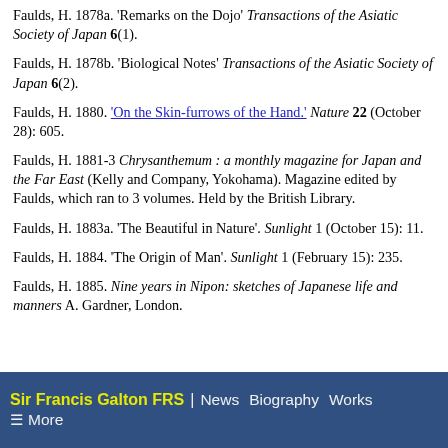Faulds, H. 1878a. 'Remarks on the Dojo' Transactions of the Asiatic Society of Japan 6(1).
Faulds, H. 1878b. 'Biological Notes' Transactions of the Asiatic Society of Japan 6(2).
Faulds, H. 1880. 'On the Skin-furrows of the Hand.' Nature 22 (October 28): 605.
Faulds, H. 1881-3 Chrysanthemum : a monthly magazine for Japan and the Far East (Kelly and Company, Yokohama). Magazine edited by Faulds, which ran to 3 volumes. Held by the British Library.
Faulds, H. 1883a. 'The Beautiful in Nature'. Sunlight 1 (October 15): 11.
Faulds, H. 1884. 'The Origin of Man'. Sunlight 1 (February 15): 235.
Faulds, H. 1885. Nine years in Nipon: sketches of Japanese life and manners A. Gardner, London.
Sir Francis Galton FRS | News Biography Works ☰ More